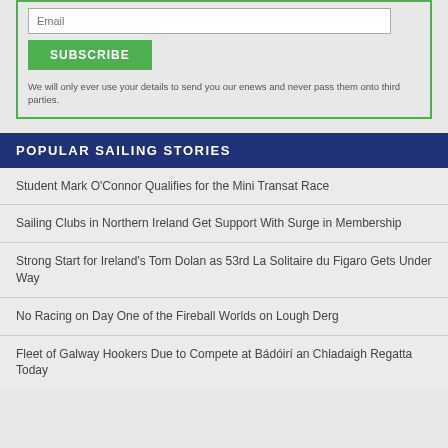[Figure (screenshot): Email input field with placeholder text 'Email']
[Figure (screenshot): Green SUBSCRIBE button]
We will only ever use your details to send you our enews and never pass them onto third parties.
POPULAR SAILING STORIES
Student Mark O'Connor Qualifies for the Mini Transat Race
Sailing Clubs in Northern Ireland Get Support With Surge in Membership
Strong Start for Ireland's Tom Dolan as 53rd La Solitaire du Figaro Gets Under Way
No Racing on Day One of the Fireball Worlds on Lough Derg
Fleet of Galway Hookers Due to Compete at Bádóirí an Chladaigh Regatta Today